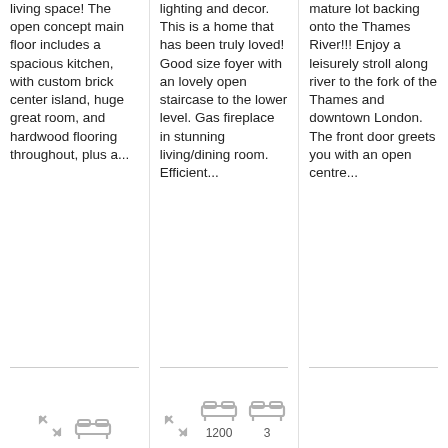living space! The open concept main floor includes a spacious kitchen, with custom brick center island, huge great room, and hardwood flooring throughout, plus a...
lighting and decor. This is a home that has been truly loved! Good size foyer with an lovely open staircase to the lower level. Gas fireplace in stunning living/dining room. Efficient...
mature lot backing onto the Thames River!!! Enjoy a leisurely stroll along river to the fork of the Thames and downtown London. The front door greets you with an open centre...